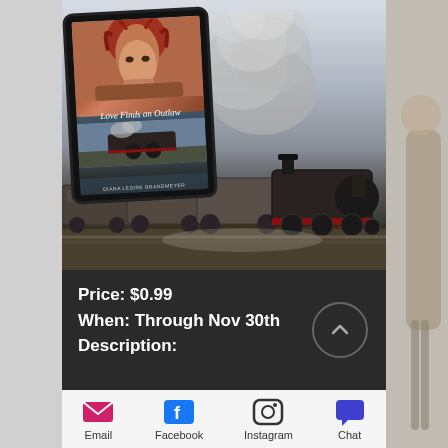[Figure (photo): Screenshot of a mobile app/website showing a book deal. Top portion: a tablet device displaying the book cover 'Love Finds an Outlaw' by Diana Lesire Brandmeyer, with a red-haired woman on the cover and a steam locomotive, set against a dramatic photo of a real steam train with smoke. Bottom dark panel shows price and deal info. Bottom navigation bar with Email, Facebook, Instagram, Chat icons. Right edge shows partial image of a person.]
Price: $0.99
When: Through Nov 30th
Description:
Email  Facebook  Instagram  Chat